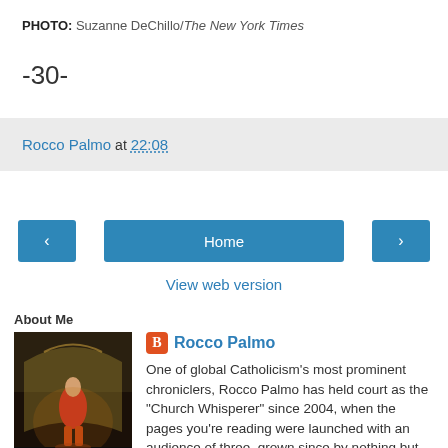PHOTO: Suzanne DeChillo/The New York Times
-30-
Rocco Palmo at 22:08
[Figure (other): Navigation buttons: left arrow, Home, right arrow, and View web version link]
About Me
[Figure (photo): Profile photo of a person in red robes standing in an ornate interior]
Rocco Palmo
One of global Catholicism's most prominent chroniclers, Rocco Palmo has held court as the "Church Whisperer" since 2004, when the pages you're reading were launched with an audience of three, grown since by nothing but word of mouth, and kept alive throughout solely by means of reader support.